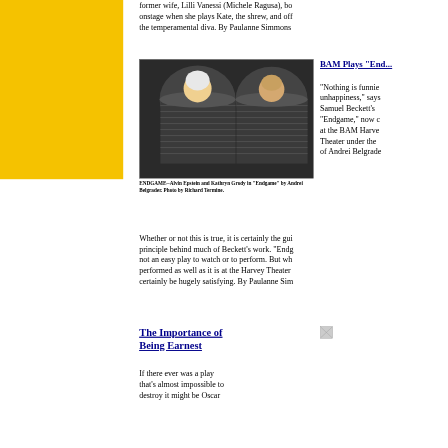former wife, Lilli Vanessi (Michele Ragusa), both onstage when she plays Kate, the shrew, and offstage as the temperamental diva. By Paulanne Simmons
[Figure (photo): Two actors (Alvin Epstein and Kathryn Grody) peering out from large trash cans in a scene from Endgame]
ENDGAME--Alvin Epstein and Kathryn Grody in "Endgame" by Andrei Belgrader. Photo by Richard Termine.
BAM Plays "Endgame"
"Nothing is funnier than unhappiness," says Samuel Beckett's "Endgame," now on at the BAM Harvey Theater under the direction of Andrei Belgrader.
Whether or not this is true, it is certainly the guiding principle behind much of Beckett's work. "Endg... not an easy play to watch or to perform. But wh... performed as well as it is at the Harvey Theater... certainly be hugely satisfying. By Paulanne Sim...
The Importance of Being Earnest
If there ever was a play that's almost impossible to destroy it might be Oscar...